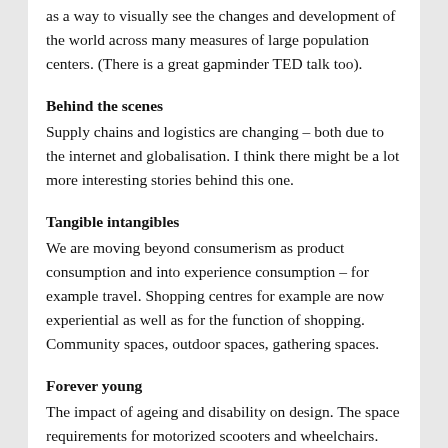as a way to visually see the changes and development of the world across many measures of large population centers. (There is a great gapminder TED talk too).
Behind the scenes
Supply chains and logistics are changing – both due to the internet and globalisation. I think there might be a lot more interesting stories behind this one.
Tangible intangibles
We are moving beyond consumerism as product consumption and into experience consumption – for example travel. Shopping centres for example are now experiential as well as for the function of shopping. Community spaces, outdoor spaces, gathering spaces.
Forever young
The impact of ageing and disability on design. The space requirements for motorized scooters and wheelchairs.
I thought the last 3 trends could have been discussed further, all of them will impact on design and could be